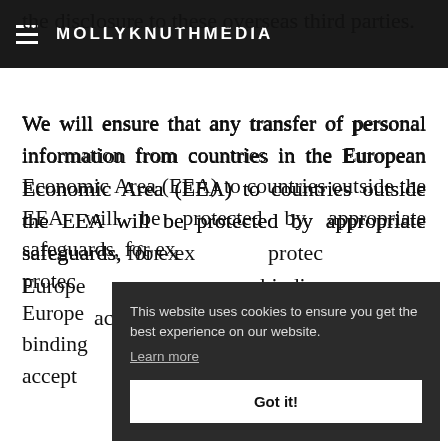MOLLYKNUTHMEDIA
the disclosure to these overseas third parties.
We will ensure that any transfer of personal information from countries in the European Economic Area (EEA) to countries outside the EEA will be protected by appropriate safeguards, for ex... protected... European... binding... accept...
This website uses cookies to ensure you get the best experience on our website. Learn more Got it!